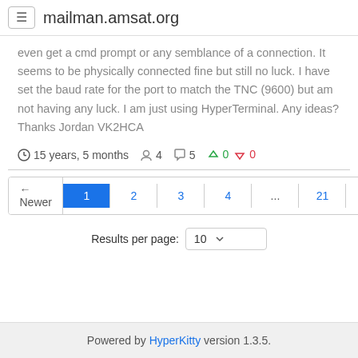mailman.amsat.org
even get a cmd prompt or any semblance of a connection. It seems to be physically connected fine but still no luck. I have set the baud rate for the port to match the TNC (9600) but am not having any luck. I am just using HyperTerminal. Any ideas? Thanks Jordan VK2HCA
15 years, 5 months  4  5  0 0
← Newer 1 2 3 4 ... 21 Older →
Results per page: 10
Powered by HyperKitty version 1.3.5.